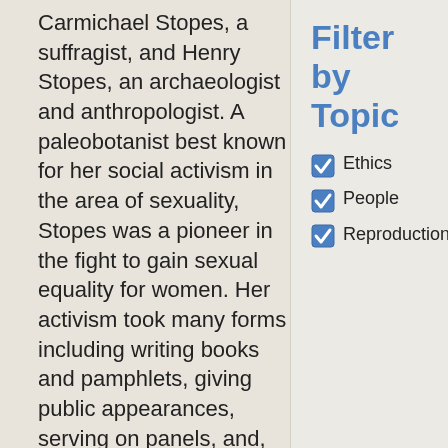Carmichael Stopes, a suffragist, and Henry Stopes, an archaeologist and anthropologist. A paleobotanist best known for her social activism in the area of sexuality, Stopes was a pioneer in the fight to gain sexual equality for women. Her activism took many forms including writing books and pamphlets, giving public appearances, serving on panels, and, most famously, co-founding the first birth control clinic in the United Kingdom.
Format: Articles
Subject: People, Ethics
Filter by Topic
Ethics
People
Reproduction